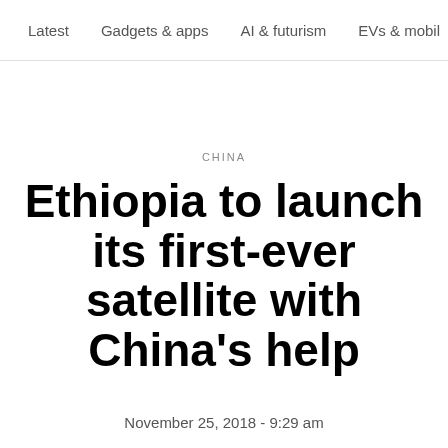Latest   Gadgets & apps   AI & futurism   EVs & mobil >
CHINA
Ethiopia to launch its first-ever satellite with China's help
November 25, 2018 - 9:29 am